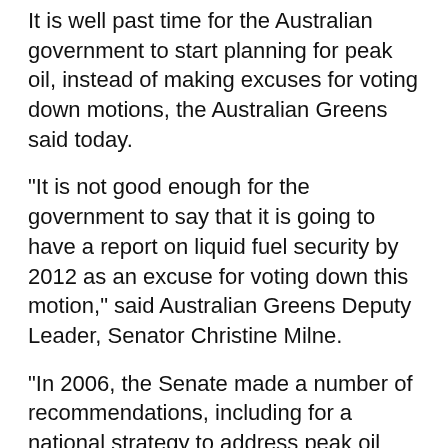It is well past time for the Australian government to start planning for peak oil, instead of making excuses for voting down motions, the Australian Greens said today.
"It is not good enough for the government to say that it is going to have a report on liquid fuel security by 2012 as an excuse for voting down this motion," said Australian Greens Deputy Leader, Senator Christine Milne.
"In 2006, the Senate made a number of recommendations, including for a national strategy to address peak oil and neither the govt nor the coalition have done anything.
"There has been no response to increasing evidence that the Saudi Arabian govt has overstated its oil reserves, nor has there been any acknowledgement that the IEA last year acknowledged the real threat of peak oil.
"Whilst oil prices are now rising because of unrest in the Middle East, the underlying driver is that the age of